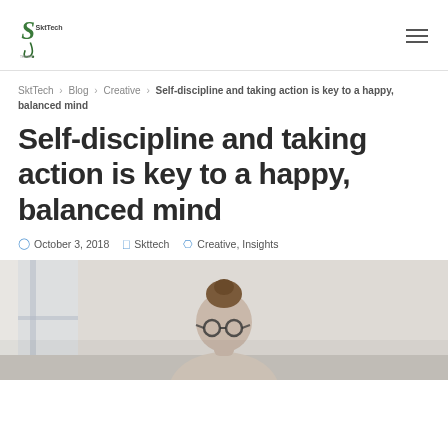SktTech logo and navigation menu
SktTech › Blog › Creative › Self-discipline and taking action is key to a happy, balanced mind
Self-discipline and taking action is key to a happy, balanced mind
October 3, 2018  Skttech  Creative, Insights
[Figure (photo): A woman with hair in a bun wearing glasses, photographed from the shoulders up in a bright interior setting]